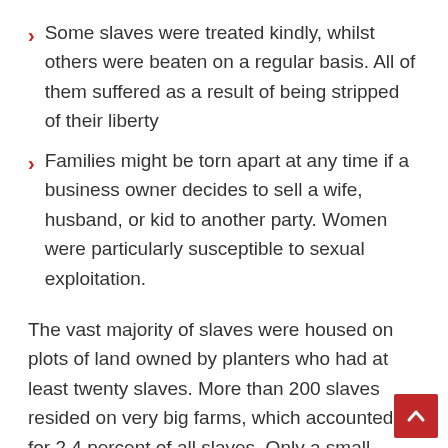Some slaves were treated kindly, whilst others were beaten on a regular basis. All of them suffered as a result of being stripped of their liberty
Families might be torn apart at any time if a business owner decides to sell a wife, husband, or kid to another party. Women were particularly susceptible to sexual exploitation.
The vast majority of slaves were housed on plots of land owned by planters who had at least twenty slaves. More than 200 slaves resided on very big farms, which accounted for 2.4 percent of all slaves. Only a small